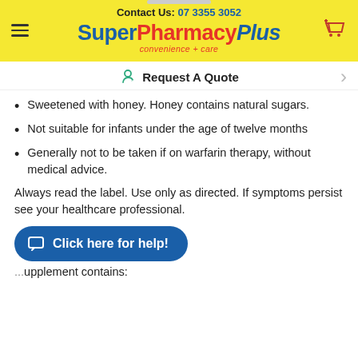Contact Us: 07 3355 3052 | SuperPharmacy Plus convenience + care
Request A Quote
Sweetened with honey. Honey contains natural sugars.
Not suitable for infants under the age of twelve months
Generally not to be taken if on warfarin therapy, without medical advice.
Always read the label. Use only as directed. If symptoms persist see your healthcare professional.
Click here for help!
...upplement contains: